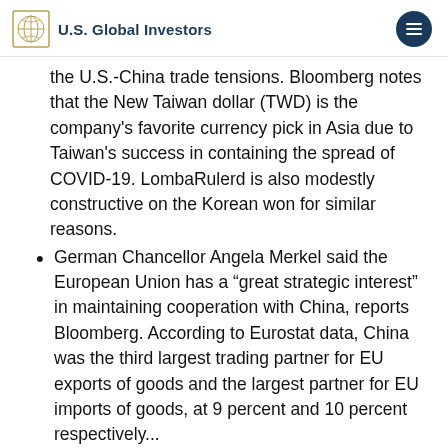U.S. Global Investors
the U.S.-China trade tensions. Bloomberg notes that the New Taiwan dollar (TWD) is the company's favorite currency pick in Asia due to Taiwan's success in containing the spread of COVID-19. LombaRulerd is also modestly constructive on the Korean won for similar reasons.
German Chancellor Angela Merkel said the European Union has a “great strategic interest” in maintaining cooperation with China, reports Bloomberg. According to Eurostat data, China was the third largest trading partner for EU exports of goods and the largest partner for EU imports of goods, at 9 percent and 10 percent respectively...